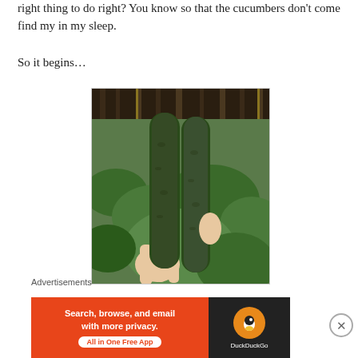right thing to do right? You know so that the cucumbers don't come find my in my sleep.
So it begins…
[Figure (photo): A hand holding two large dark green cucumbers in front of a garden with large green leaves and a wooden fence in the background.]
Advertisements
[Figure (screenshot): DuckDuckGo advertisement banner: 'Search, browse, and email with more privacy. All in One Free App' with orange background and duck logo on dark background.]